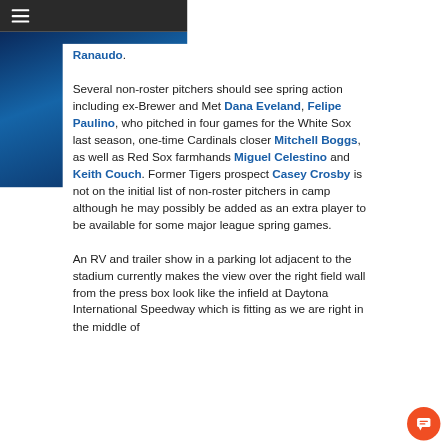Ranaudo. Several non-roster pitchers should see spring action including ex-Brewer and Met Dana Eveland, Felipe Paulino, who pitched in four games for the White Sox last season, one-time Cardinals closer Mitchell Boggs, as well as Red Sox farmhands Miguel Celestino and Keith Couch. Former Tigers prospect Casey Crosby is not on the initial list of non-roster pitchers in camp although he may possibly be added as an extra player to be available for some major league spring games.
An RV and trailer show in a parking lot adjacent to the stadium currently makes the view over the right field wall from the press box look like the infield at Daytona International Speedway which is fitting as we are right in the middle of